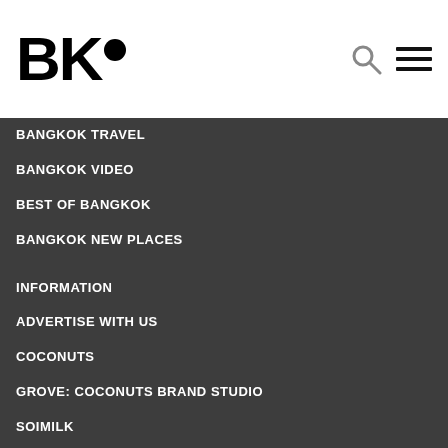[Figure (logo): BK magazine logo with stylized BK letters and a dot]
BANGKOK TRAVEL
BANGKOK VIDEO
BEST OF BANGKOK
BANGKOK NEW PLACES
INFORMATION
ADVERTISE WITH US
COCONUTS
GROVE: COCONUTS BRAND STUDIO
SOIMILK
CONNECT
BK NEWSLETTERS
JOIN ON FACEBOOK
FOLLOW ON TWITTER